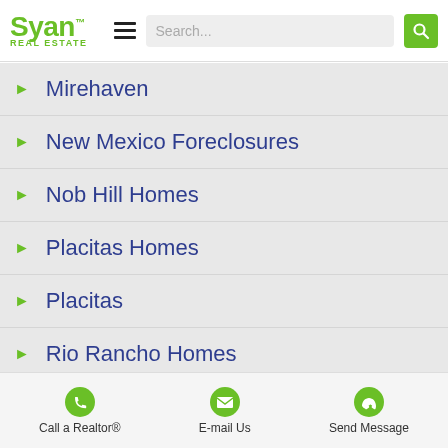Syan Real Estate — Search bar and hamburger menu
Mirehaven
New Mexico Foreclosures
Nob Hill Homes
Placitas Homes
Placitas
Rio Rancho Homes
Rio Rancho Land
Rio Rancho
Tanoan
Call a Realtor® | E-mail Us | Send Message